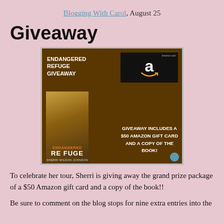Blogging With Carol, August 25
Giveaway
[Figure (illustration): Endangered Refuge Giveaway promotional image with book cover showing a man, Amazon gift card logo, and text: GIVEAWAY INCLUDES A $50 AMAZON GIFT CARD AND A COPY OF THE BOOK!]
To celebrate her tour, Sherri is giving away the grand prize package of a $50 Amazon gift card and a copy of the book!!
Be sure to comment on the blog stops for nine extra entries into the